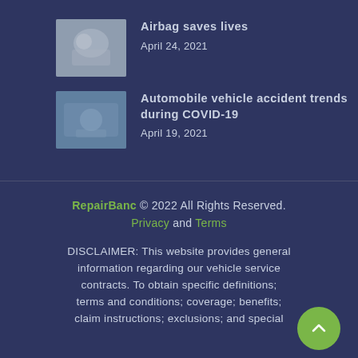[Figure (photo): Thumbnail photo related to airbag article]
Airbag saves lives
April 24, 2021
[Figure (photo): Thumbnail photo related to automobile vehicle accident trends article]
Automobile vehicle accident trends during COVID-19
April 19, 2021
RepairBanc © 2022 All Rights Reserved. Privacy and Terms DISCLAIMER: This website provides general information regarding our vehicle service contracts. To obtain specific definitions; terms and conditions; coverage; benefits; claim instructions; exclusions; and special